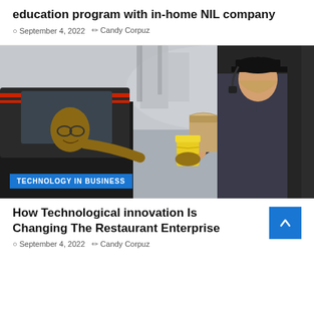education program with in-home NIL company
September 4, 2022   Candy Corpuz
[Figure (photo): A drive-through window scene: a fast-food employee wearing a black cap and headset hands a paper bag and yellow cup to a customer in a car. A blue badge overlay reads 'TECHNOLOGY IN BUSINESS'.]
How Technological innovation Is Changing The Restaurant Enterprise
September 4, 2022   Candy Corpuz